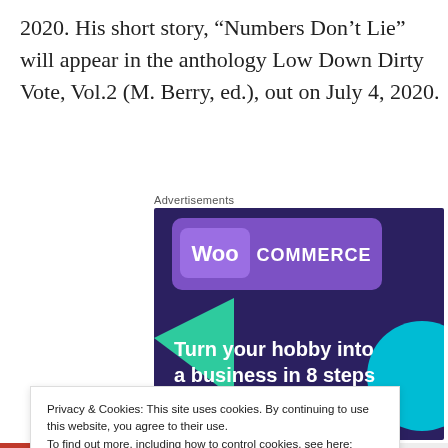2020. His short story, “Numbers Don’t Lie” will appear in the anthology Low Down Dirty Vote, Vol.2 (M. Berry, ed.), out on July 4, 2020.
[Figure (screenshot): WooCommerce advertisement banner with text 'Turn your hobby into a business in 8 steps' on a dark purple background with teal and blue accent shapes.]
Privacy & Cookies: This site uses cookies. By continuing to use this website, you agree to their use.
To find out more, including how to control cookies, see here: Cookie Policy